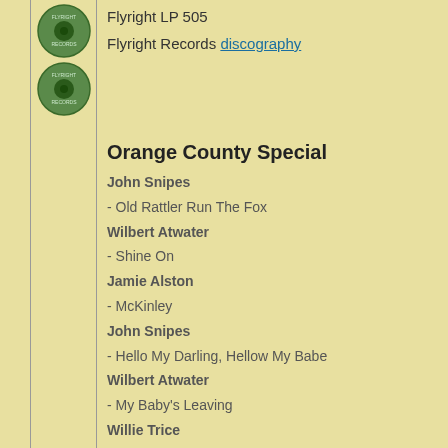Flyright LP 505
Flyright Records discography
Orange County Special
John Snipes
- Old Rattler Run The Fox
Wilbert Atwater
- Shine On
Jamie Alston
- McKinley
John Snipes
- Hello My Darling, Hellow My Babe
Wilbert Atwater
- My Baby's Leaving
Willie Trice
- Wild Bill (instr) *  @ youtube
Wilbert Atwater
- Goin' Away Baby And I Sure Don't Want To Go
- Go Up On The Mountain
[Figure (infographic): Social media icon bar with home, Facebook, Twitter, YouTube, Pinterest, eBay icons]
Willie & Rich Trice discography (latest date of editing: 05/17/2019)
© responsible for contents: Stefan Wirz
00593081
counting 'American Music' since 12/08/2019